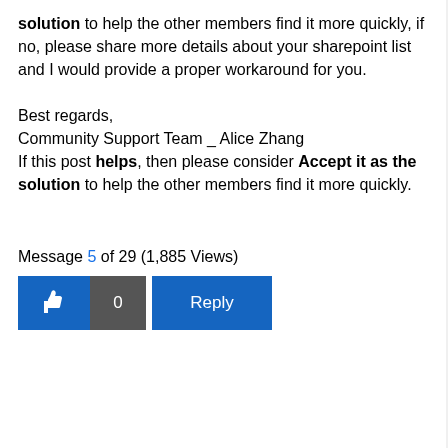solution to help the other members find it more quickly, if no, please share more details about your sharepoint list and I would provide a proper workaround for you.
Best regards,
Community Support Team _ Alice Zhang
If this post helps, then please consider Accept it as the solution to help the other members find it more quickly.
Message 5 of 29 (1,885 Views)
[Figure (other): Like button with thumbs up icon and count 0, and a Reply button]